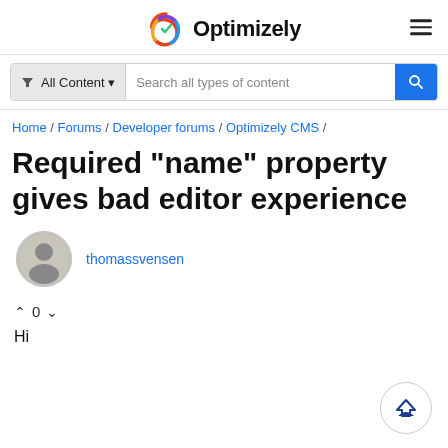[Figure (logo): Optimizely logo with colorful swirl icon and bold text 'Optimizely']
[Figure (screenshot): Search bar with 'All Content' filter dropdown and 'Search all types of content' placeholder, blue search button]
Home / Forums / Developer forums / Optimizely CMS /
Required "name" property gives bad editor experience
thomassvensen
^ 0 v
Hi